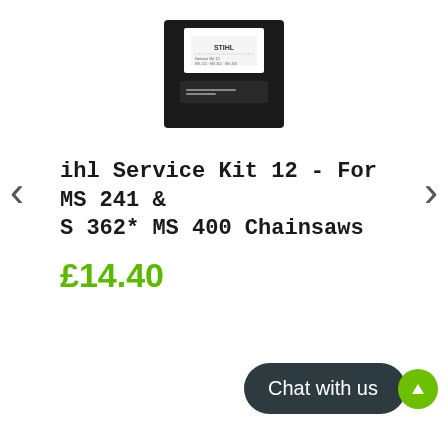[Figure (photo): Product image of a Stihl Service Kit 12 box - black rectangular box with white label panel showing product information lines]
Stihl Service Kit 12 - For MS 241 & MS 362* MS 400 Chainsaws
£14.40
[Figure (other): Chat with us button widget - dark pill-shaped button with text 'Chat with us' and a green circle icon]